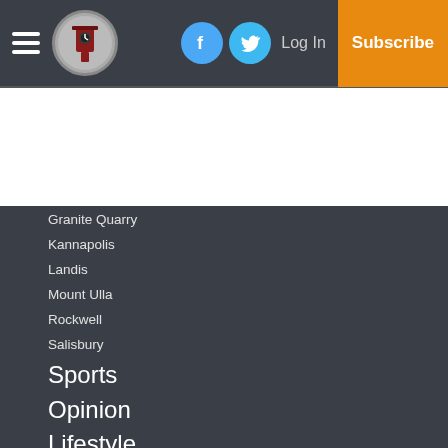Navigation header with hamburger menu, logo, Facebook icon, Twitter icon, Log In, Subscribe
[Figure (screenshot): White advertisement banner area]
Granite Quarry
Kannapolis
Landis
Mount Ulla
Rockwell
Salisbury
Sports
Opinion
Lifestyle
Faith
Video
Veteran of the Month
Services
About Us
Contact Us
Classifieds
Obits
Copyright (partial, cut off)